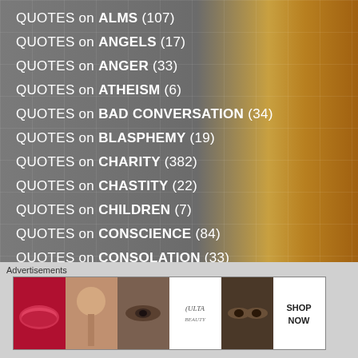QUOTES on ALMS (107)
QUOTES on ANGELS (17)
QUOTES on ANGER (33)
QUOTES on ATHEISM (6)
QUOTES on BAD CONVERSATION (34)
QUOTES on BLASPHEMY (19)
QUOTES on CHARITY (382)
QUOTES on CHASTITY (22)
QUOTES on CHILDREN (7)
QUOTES on CONSCIENCE (84)
QUOTES on CONSOLATION (33)
Advertisements
[Figure (photo): Advertisement banner for ULTA beauty featuring makeup images including lips, brush, eyes, and ULTA logo with SHOP NOW text]